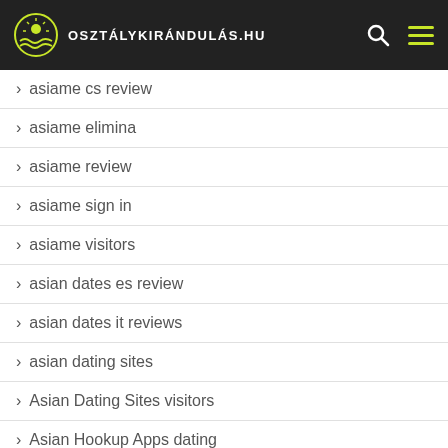osztálykirándulás.hu
asiame cs review
asiame elimina
asiame review
asiame sign in
asiame visitors
asian dates es review
asian dates it reviews
asian dating sites
Asian Dating Sites visitors
Asian Hookup Apps dating